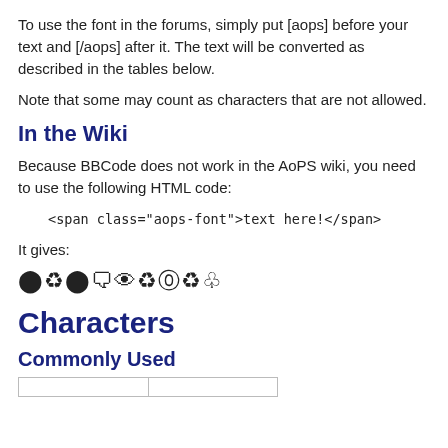To use the font in the forums, simply put [aops] before your text and [/aops] after it. The text will be converted as described in the tables below.
Note that some may count as characters that are not allowed.
In the Wiki
Because BBCode does not work in the AoPS wiki, you need to use the following HTML code:
It gives:
[Figure (other): Rendered AoPS font symbols: a row of special pictographic characters]
Characters
Commonly Used
|  |  |